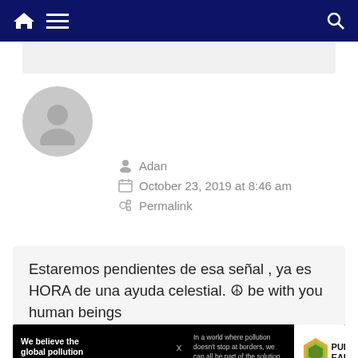Navigation bar with home, menu, and search icons
[Figure (illustration): Gray default user avatar circle with silhouette]
Adan
October 23, 2019 at 8:46 am
Permalink
Estaremos pendientes de esa señal , ya es HORA de una ayuda celestial. ☮ be with you human beings
[Figure (infographic): Pure Earth advertisement: 'We believe the global pollution crisis can be solved. In a world where pollution doesn't stop at borders, we can all be part of the solution. JOIN US.']